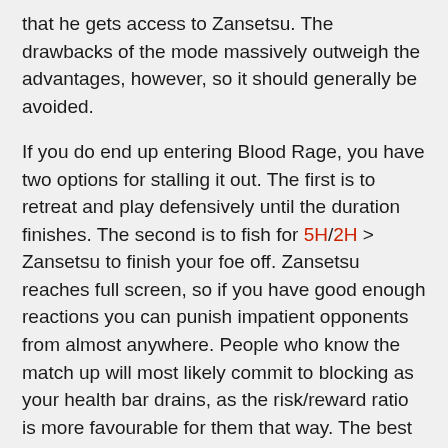that he gets access to Zansetsu. The drawbacks of the mode massively outweigh the advantages, however, so it should generally be avoided.
If you do end up entering Blood Rage, you have two options for stalling it out. The first is to retreat and play defensively until the duration finishes. The second is to fish for 5H/2H > Zansetsu to finish your foe off. Zansetsu reaches full screen, so if you have good enough reactions you can punish impatient opponents from almost anywhere. People who know the match up will most likely commit to blocking as your health bar drains, as the risk/reward ratio is more favourable for them that way. The best you can do is to land 5H to deal a bit of chip damage. None of these options are particularly strong, they are simply ways to make the best of a bad situation.
Nagoriyuki players must constantly keep note of how filled the Blood Gauge is and manage it carefully to avoid entering Blood Rage. It is integral to understand how to maximise the benefits while mitigating the drawbacks of Blood Gauge in order to play Nagoriyuki effectively. That being said, there are some specific scenarios where skilled players can make use of intentionally